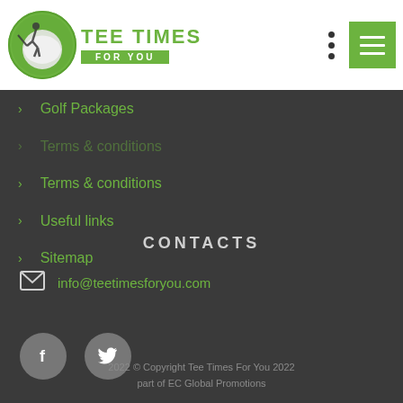[Figure (logo): Tee Times For You logo with golf ball icon and green brand name]
Golf Packages
Terms & conditions
Useful links
Sitemap
CONTACTS
info@teetimesforyou.com
[Figure (illustration): Facebook and Twitter social media icon buttons (grey circles)]
2022 © Copyright Tee Times For You 2022 part of EC Global Promotions